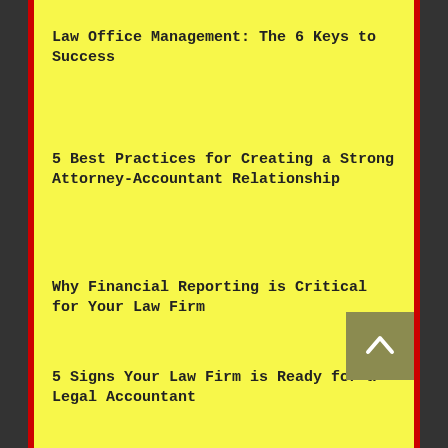Law Office Management: The 6 Keys to Success
5 Best Practices for Creating a Strong Attorney-Accountant Relationship
Why Financial Reporting is Critical for Your Law Firm
5 Signs Your Law Firm is Ready for a Legal Accountant